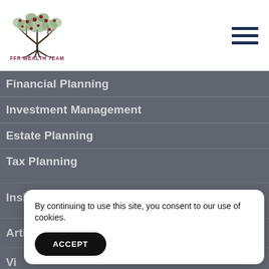[Figure (logo): FFR Wealth Team logo: a tree with red berries and roots, with text 'FFR WEALTH TEAM' below in dark red]
Financial Planning
Investment Management
Estate Planning
Tax Planning
Insights
Articles
Vi[deos] (partially hidden)
In[fographics] (partially hidden)
Gu[ides] (partially hidden)
G[lossary] (partially hidden)
By continuing to use this site, you consent to our use of cookies.
ACCEPT